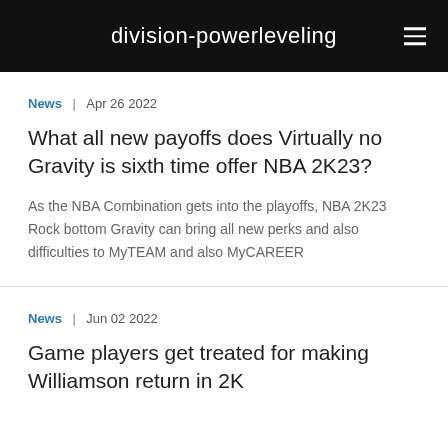division-powerleveling
News  |  Apr 26 2022
What all new payoffs does Virtually no Gravity is sixth time offer NBA 2K23?
As the NBA Combination gets into the playoffs, NBA 2K23 Rock bottom Gravity can bring all new perks and also difficulties to MyTEAM and also MyCAREER
News  |  Jun 02 2022
Game players get treated for making Williamson return in 2K